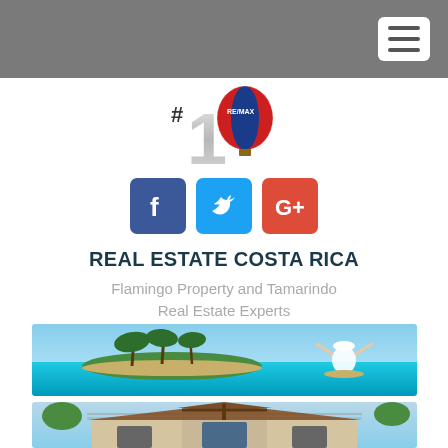Navigation header bar with hamburger menu
[Figure (logo): RE/MAX #1 balloon logo with silver #1 trophy and hot air balloon]
[Figure (logo): Social media icons: Facebook (blue), Twitter (light blue), Google+ (red)]
REAL ESTATE COSTA RICA
Flamingo Property and Tamarindo Real Estate Experts
[Figure (photo): Tropical beach scene with palm trees, turquoise water, sandy island, and a woman in white dress with arms raised]
[Figure (photo): Costa Rican villa or house exterior with tiled roof, wood beams, white walls, surrounded by tropical trees]